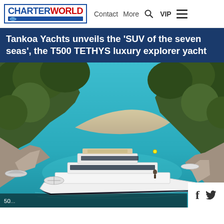CHARTERWORLD  Contact  More  VIP
Tankoa Yachts unveils the 'SUV of the seven seas', the T500 TETHYS luxury explorer yacht
[Figure (photo): Aerial/drone photo of a large white modern luxury explorer yacht (T500 TETHYS) anchored in a turquoise cove surrounded by rocky cliffs and pine trees. A smaller tender boat is visible nearby. The water is a vivid aquamarine/turquoise color.]
50...